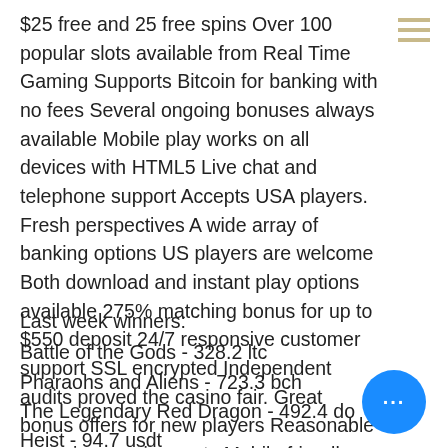$25 free and 25 free spins Over 100 popular slots available from Real Time Gaming Supports Bitcoin for banking with no fees Several ongoing bonuses always available Mobile play works on all devices with HTML5 Live chat and telephone support Accepts USA players. Fresh perspectives A wide array of banking options US players are welcome Both download and instant play options available 275% matching bonus for up to $550 deposit 24/7 responsive customer support SSL encrypted Independent audits proved the casino fair. Great bonus offers for new players Reasonable wagering requirements Mobile friendly Bitcoin friendly.
Last week winners:
Battle of the Gods - 328.2 ltc
Pharaohs and Aliens - 723.3 bch
The Legendary Red Dragon - 492.4 do
Heist - 94.7 usdt
Tomb Raider - 593.9 dog